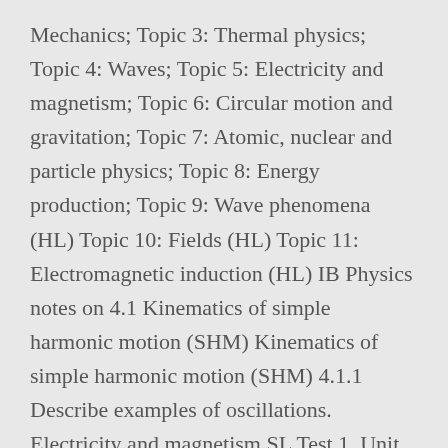Mechanics; Topic 3: Thermal physics; Topic 4: Waves; Topic 5: Electricity and magnetism; Topic 6: Circular motion and gravitation; Topic 7: Atomic, nuclear and particle physics; Topic 8: Energy production; Topic 9: Wave phenomena (HL) Topic 10: Fields (HL) Topic 11: Electromagnetic induction (HL) IB Physics notes on 4.1 Kinematics of simple harmonic motion (SHM) Kinematics of simple harmonic motion (SHM) 4.1.1 Describe examples of oscillations. Electricity and magnetism SL Test 1, Unit 5. Our study guides, notes, and practice tests are constantly updated. Type "Relativity" and it will bring you to all of the material for Relativity. Circular motion and gravitation HL